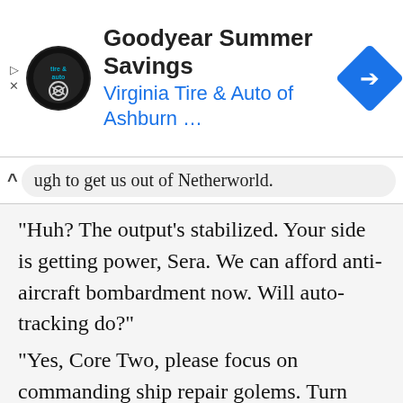[Figure (screenshot): Goodyear Summer Savings advertisement banner for Virginia Tire & Auto of Ashburn with logo and navigation icon]
ugh to get us out of Netherworld.
"Huh? The output's stabilized. Your side is getting power, Sera. We can afford anti-aircraft bombardment now. Will auto-tracking do?"
"Yes, Core Two, please focus on commanding ship repair golems. Turn over damages beyond self-repair functions to my golem units."
A golem army under princess Sistina's control